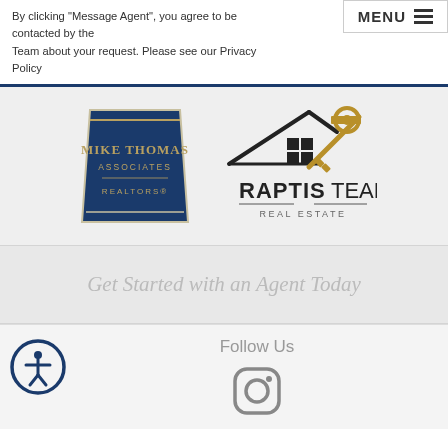By clicking "Message Agent", you agree to be contacted by the Team about your request. Please see our Privacy Policy
[Figure (logo): Mike Thomas Associates REALTORS logo - blue trapezoid shape with gold text]
[Figure (logo): Raptis Team Real Estate logo - house outline with grid and gold key]
Get Started with an Agent Today
Follow Us
[Figure (logo): Accessibility icon - person in circle]
[Figure (logo): Instagram logo icon]